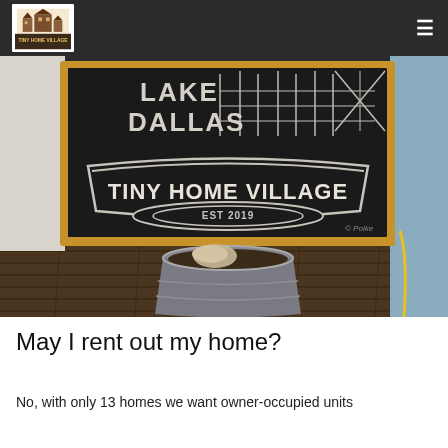Lake Dallas Tiny Home Village
[Figure (photo): A chalkboard sign reading 'LAKE DALLAS' at top and 'TINY HOME VILLAGE EST 2019' in a decorative banner, with a chalk drawing of buildings behind it. The sign sits propped in a galvanized bucket with soil and a rock, on a weathered wooden deck surface. A blue wall is visible at right.]
May I rent out my home?
No, with only 13 homes we want owner-occupied units